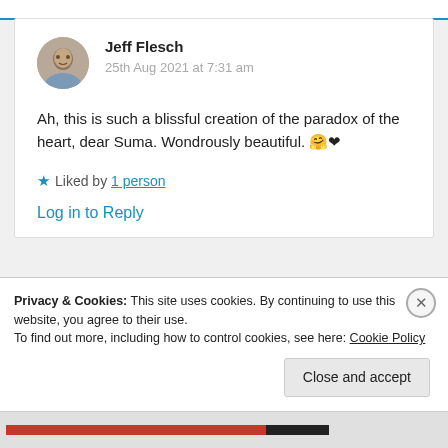Jeff Flesch
25th Aug 2021 at 7:31 am
Ah, this is such a blissful creation of the paradox of the heart, dear Suma. Wondrously beautiful. 🤗❤
★ Liked by 1 person
Log in to Reply
Privacy & Cookies: This site uses cookies. By continuing to use this website, you agree to their use. To find out more, including how to control cookies, see here: Cookie Policy
Close and accept